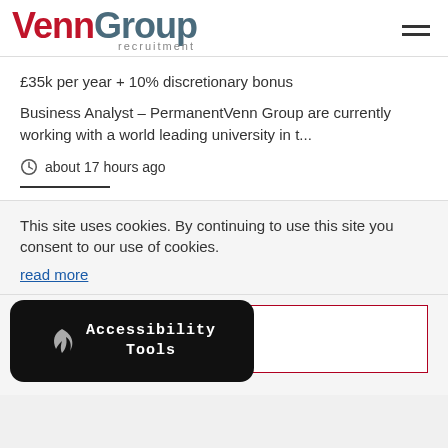VennGroup recruitment
£35k per year + 10% discretionary bonus
Business Analyst – PermanentVenn Group are currently working with a world leading university in t...
about 17 hours ago
This site uses cookies. By continuing to use this site you consent to our use of cookies.
read more
Accessibility Tools
it!